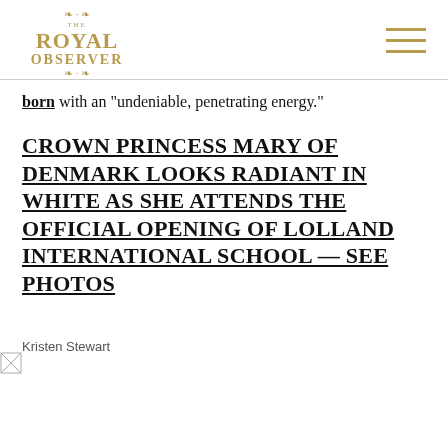THE ROYAL OBSERVER
born with an "undeniable, penetrating energy."
CROWN PRINCESS MARY OF DENMARK LOOKS RADIANT IN WHITE AS SHE ATTENDS THE OFFICIAL OPENING OF LOLLAND INTERNATIONAL SCHOOL — SEE PHOTOS
Kristen Stewart
[Figure (photo): Broken image placeholder for Kristen Stewart photo]